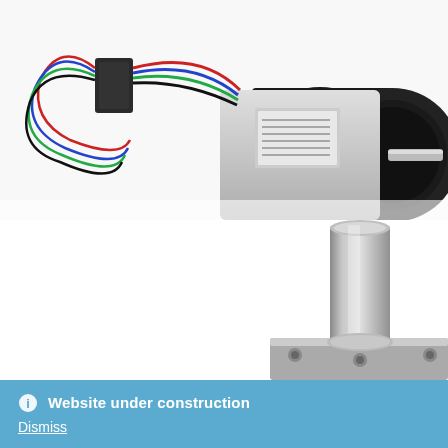[Figure (photo): Photo of a small stepper motor with colorful wires (red, blue, green, black) attached via a connector, viewed from an angle showing the cylindrical motor body and a protruding shaft, on a white background.]
[Figure (photo): Close-up photo of a metallic cylindrical shaft protruding vertically upward from a square metal mounting plate with bolt holes, on a white background.]
Website under construction
Dismiss